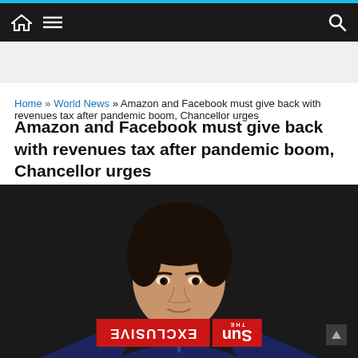Navigation bar with home, menu icons and search icon
Home » World News » Amazon and Facebook must give back with revenues tax after pandemic boom, Chancellor urges
[Figure (photo): Photograph of Rishi Sunak in a dark suit against a dark background, with a mirrored 'THE SUN EXCLUSIVE' banner overlaid at the bottom of the image.]